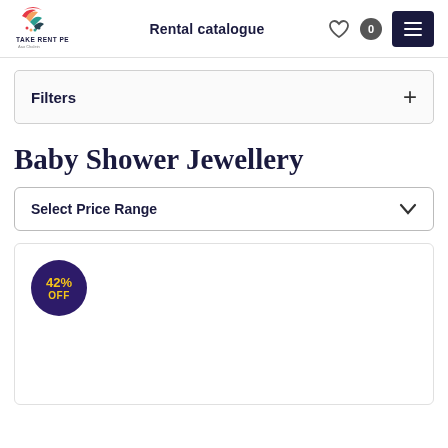[Figure (logo): Take Rent Pe logo with colorful circular icon and text 'TAKE RENT PE' with tagline]
Rental catalogue
Filters
Baby Shower Jewellery
Select Price Range
[Figure (infographic): Circular discount badge showing 42% OFF in yellow text on dark purple background]